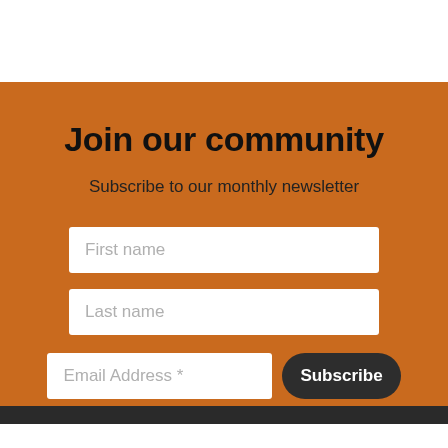Join our community
Subscribe to our monthly newsletter
[Figure (other): Newsletter signup form with fields: First name, Last name, Email Address *, and a Subscribe button]